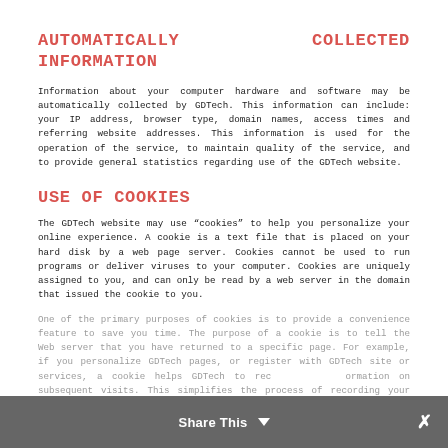AUTOMATICALLY COLLECTED INFORMATION
Information about your computer hardware and software may be automatically collected by GDTech. This information can include: your IP address, browser type, domain names, access times and referring website addresses. This information is used for the operation of the service, to maintain quality of the service, and to provide general statistics regarding use of the GDTech website.
USE OF COOKIES
The GDTech website may use "cookies" to help you personalize your online experience. A cookie is a text file that is placed on your hard disk by a web page server. Cookies cannot be used to run programs or deliver viruses to your computer. Cookies are uniquely assigned to you, and can only be read by a web server in the domain that issued the cookie to you.
One of the primary purposes of cookies is to provide a convenience feature to save you time. The purpose of a cookie is to tell the Web server that you have returned to a specific page. For example, if you personalize GDTech pages, or register with GDTech site or services, a cookie helps GDTech to recall your information on subsequent visits. This simplifies the process of recording your personal information.
Share This